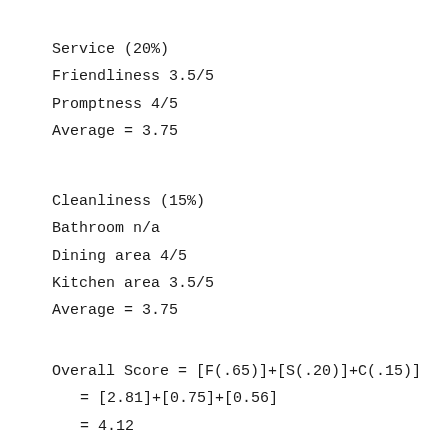Service (20%)
Friendliness 3.5/5
Promptness 4/5
Average = 3.75
Cleanliness (15%)
Bathroom n/a
Dining area 4/5
Kitchen area 3.5/5
Average = 3.75